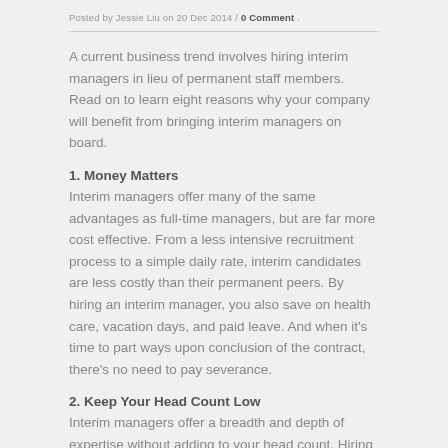Posted by Jessie Liu on 20 Dec 2014 / 0 Comment .
A current business trend involves hiring interim managers in lieu of permanent staff members. Read on to learn eight reasons why your company will benefit from bringing interim managers on board.
1. Money Matters
Interim managers offer many of the same advantages as full-time managers, but are far more cost effective. From a less intensive recruitment process to a simple daily rate, interim candidates are less costly than their permanent peers. By hiring an interim manager, you also save on health care, vacation days, and paid leave. And when it’s time to part ways upon conclusion of the contract, there’s no need to pay severance.
2. Keep Your Head Count Low
Interim managers offer a breadth and depth of expertise without adding to your head count. Hiring multiple interim managers across several departments adds up to even greater savings with no significant benefits.